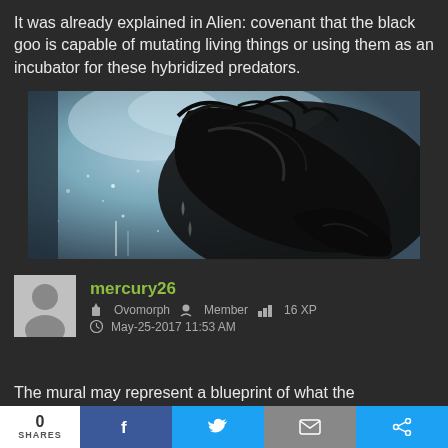It was already explained in Alien: covenant that the black goo is capable of mutating living things or using them as an incubator for these hybridized predators.
[Figure (photo): Close-up movie still from Alien: Covenant showing the alien creature's dark textured head/face against a light blue misty background with water droplets]
mercury26
☆ Ovomorph  👤 Member  📊 16 XP
🕐 May-25-2017 11:53 AM
The mural may represent a blueprint of what the
0 SHARES  f  🐦  ✉  ⚙